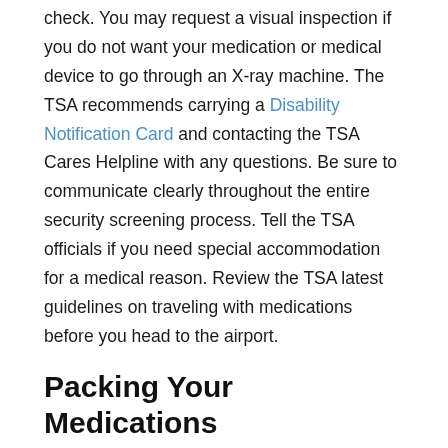check. You may request a visual inspection if you do not want your medication or medical device to go through an X-ray machine. The TSA recommends carrying a Disability Notification Card and contacting the TSA Cares Helpline with any questions. Be sure to communicate clearly throughout the entire security screening process. Tell the TSA officials if you need special accommodation for a medical reason. Review the TSA latest guidelines on traveling with medications before you head to the airport.
Packing Your Medications
When you're packing, make sure all your medications are stored in secure containers to avoid spills or leaks. Always keep your medicine and necessary medical supplies with you, especially if you are traveling by